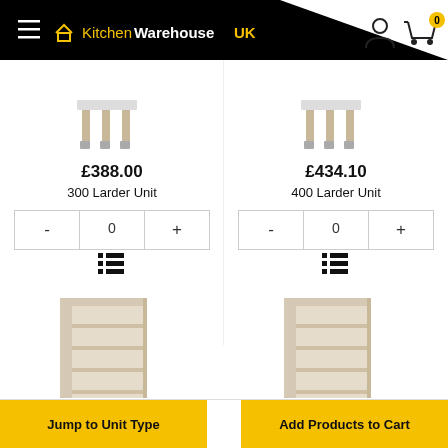[Figure (screenshot): KitchenWarehouseUK website header with hamburger menu, logo, user icon, and cart with 0 items]
£388.00
300 Larder Unit
£434.10
400 Larder Unit
[Figure (photo): Partial product image of a larder unit, bottom/leg portion visible]
[Figure (photo): Partial product image of a larder unit, bottom/leg portion visible]
[Figure (photo): Larder unit cabinet with open shelves]
[Figure (photo): Larder unit cabinet with open shelves]
Jump to Unit Type
Add Products to Cart